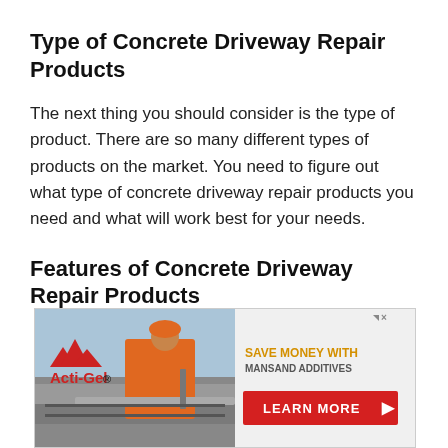Type of Concrete Driveway Repair Products
The next thing you should consider is the type of product. There are so many different types of products on the market. You need to figure out what type of concrete driveway repair products you need and what will work best for your needs.
Features of Concrete Driveway Repair Products
[Figure (other): Advertisement banner for Acti-Gel with Mansand Additives. Left half shows a construction worker finishing concrete with a tool. Right half shows the Acti-Gel logo with mountains, text 'SAVE MONEY WITH MANSAND ADDITIVES', and a red 'LEARN MORE' button with arrow.]